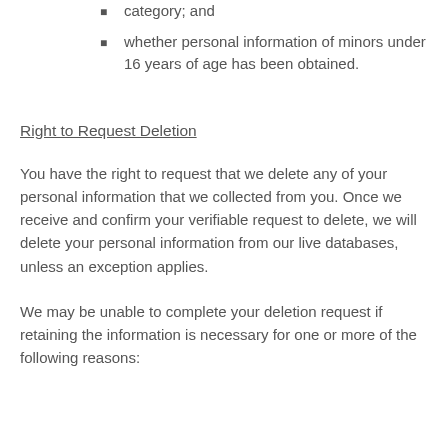category; and
whether personal information of minors under 16 years of age has been obtained.
Right to Request Deletion
You have the right to request that we delete any of your personal information that we collected from you. Once we receive and confirm your verifiable request to delete, we will delete your personal information from our live databases, unless an exception applies.
We may be unable to complete your deletion request if retaining the information is necessary for one or more of the following reasons: